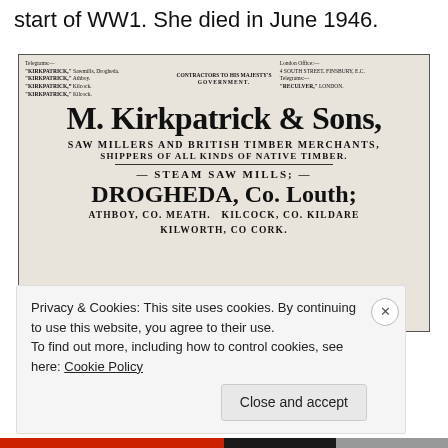start of WW1. She died in June 1946.
[Figure (other): Vintage advertisement for M. Kirkpatrick & Sons, Saw Millers and British Timber Merchants, with offices in Drogheda Co. Louth, Athboy Co. Meath, Kilcock Co. Kildare, and Kilworth Co. Cork. States they are Contractors to His Majesty's Government with Steam Saw Mills.]
Privacy & Cookies: This site uses cookies. By continuing to use this website, you agree to their use.
To find out more, including how to control cookies, see here: Cookie Policy
Close and accept